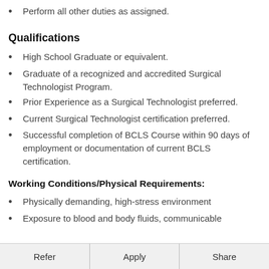Perform all other duties as assigned.
Qualifications
High School Graduate or equivalent.
Graduate of a recognized and accredited Surgical Technologist Program.
Prior Experience as a Surgical Technologist preferred.
Current Surgical Technologist certification preferred.
Successful completion of BCLS Course within 90 days of employment or documentation of current BCLS certification.
Working Conditions/Physical Requirements:
Physically demanding, high-stress environment
Exposure to blood and body fluids, communicable diseases, chemicals, radiation, and other conditions
Refer   Apply   Share